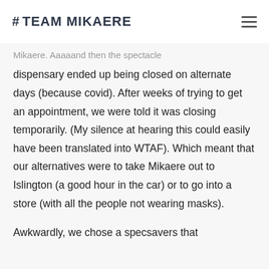#TEAM MIKAERE
Mikaere. Aaaaand then the spectacle dispensary ended up being closed on alternate days (because covid). After weeks of trying to get an appointment, we were told it was closing temporarily. (My silence at hearing this could easily have been translated into WTAF). Which meant that our alternatives were to take Mikaere out to Islington (a good hour in the car) or to go into a store (with all the people not wearing masks).
Awkwardly, we chose a specsavers that